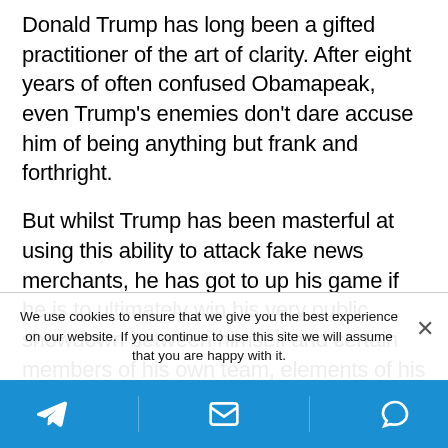Donald Trump has long been a gifted practitioner of the art of clarity. After eight years of often confused Obamapeak, even Trump's enemies don't dare accuse him of being anything but frank and forthright.
But whilst Trump has been masterful at using this ability to attack fake news merchants, he has got to up his game if he is to ultimately win his very public showdown between himself and certain members of his own team, elements of his own party, the Democrats, msm as a whole and the deep state, particularly the intelligence agencies.
We use cookies to ensure that we give you the best experience on our website. If you continue to use this site we will assume that you are happy with it.